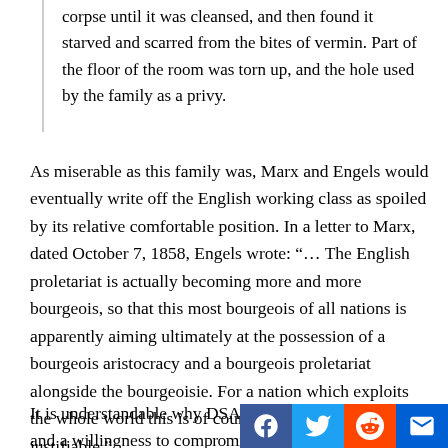corpse until it was cleansed, and then found it starved and scarred from the bites of vermin. Part of the floor of the room was torn up, and the hole used by the family as a privy.
As miserable as this family was, Marx and Engels would eventually write off the English working class as spoiled by its relative comfortable position. In a letter to Marx, dated October 7, 1858, Engels wrote: “… The English proletariat is actually becoming more and more bourgeois, so that this most bourgeois of all nations is apparently aiming ultimately at the possession of a bourgeois aristocracy and a bourgeois proletariat alongside the bourgeoisie. For a nation which exploits the whole world this is of course to a certain extent justifiable.”
It is understandable why DSA might d… expectations and a willingness to compromise.